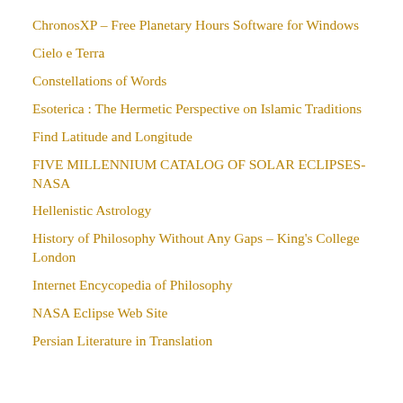ChronosXP – Free Planetary Hours Software for Windows
Cielo e Terra
Constellations of Words
Esoterica : The Hermetic Perspective on Islamic Traditions
Find Latitude and Longitude
FIVE MILLENNIUM CATALOG OF SOLAR ECLIPSES-NASA
Hellenistic Astrology
History of Philosophy Without Any Gaps – King's College London
Internet Encycopedia of Philosophy
NASA Eclipse Web Site
Persian Literature in Translation